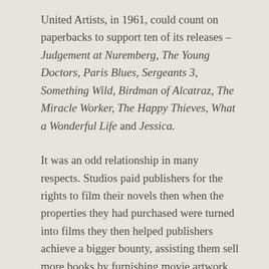United Artists, in 1961, could count on paperbacks to support ten of its releases – Judgement at Nuremberg, The Young Doctors, Paris Blues, Sergeants 3, Something Wild, Birdman of Alcatraz, The Miracle Worker, The Happy Thieves, What a Wonderful Life and Jessica.
It was an odd relationship in many respects. Studios paid publishers for the rights to film their novels then when the properties they had purchased were turned into films they then helped publishers achieve a bigger bounty, assisting them sell more books by furnishing movie artwork and stills for the covers. Yet there was benefit. Every copy printed was one more piece of advertising for the film, often in places where a studio would not normally advertise and serving as advance buzz.